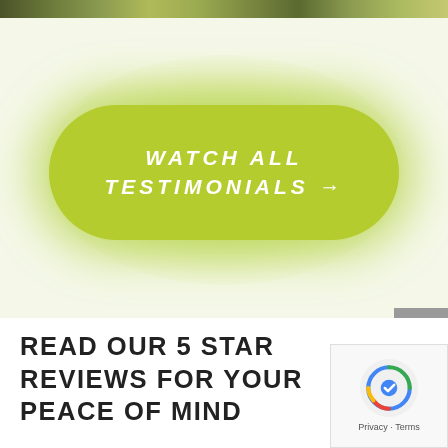[Figure (photo): Partial view of a photo strip at the top of the page showing an outdoor/nature scene in dark tones]
[Figure (other): Green pill-shaped call-to-action button with glowing effect reading WATCH ALL TESTIMONIALS with arrow]
[Figure (other): Grey scroll-to-top button with upward arrow on the right side]
READ OUR 5 STAR REVIEWS FOR YOUR PEACE OF MIND
[Figure (other): Google reCAPTCHA badge with logo and Privacy - Terms text]